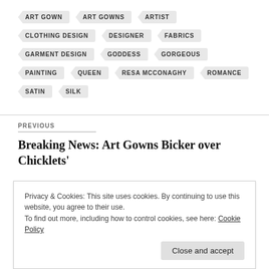ART GOWN
ART GOWNS
ARTIST
CLOTHING DESIGN
DESIGNER
FABRICS
GARMENT DESIGN
GODDESS
GORGEOUS
PAINTING
QUEEN
RESA MCCONAGHY
ROMANCE
SATIN
SILK
PREVIOUS
Breaking News: Art Gowns Bicker over Chicklets' Ri…
Privacy & Cookies: This site uses cookies. By continuing to use this website, you agree to their use.
To find out more, including how to control cookies, see here: Cookie Policy
Close and accept